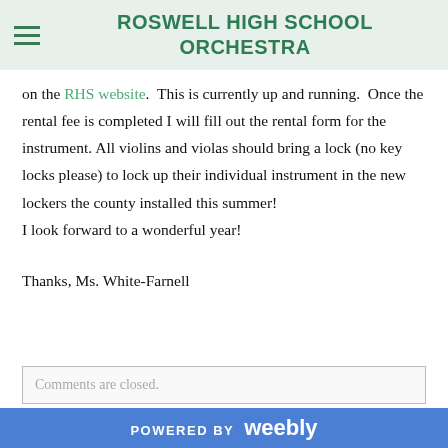ROSWELL HIGH SCHOOL ORCHESTRA
on the RHS website.  This is currently up and running.  Once the rental fee is completed I will fill out the rental form for the instrument. All violins and violas should bring a lock (no key locks please) to lock up their individual instrument in the new lockers the county installed this summer!
I look forward to a wonderful year!
Thanks, Ms. White-Farnell
Comments are closed.
POWERED BY weebly